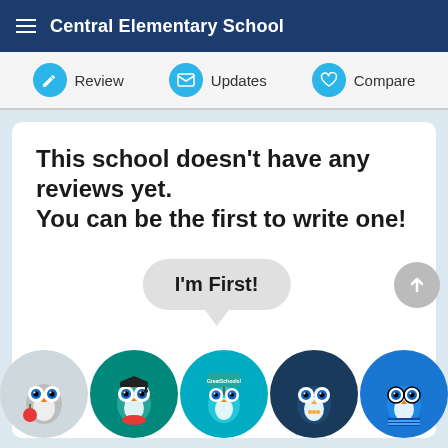Central Elementary School
Review
Updates
Compare
This school doesn't have any reviews yet.
You can be the first to write one!
I'm First!
[Figure (illustration): Five circular owl mascot icons in a row at the bottom: a grey owl, a teal owl with graduation cap, a teal owl with GreatSchools label, a dark blue owl, and a blue owl with glasses.]